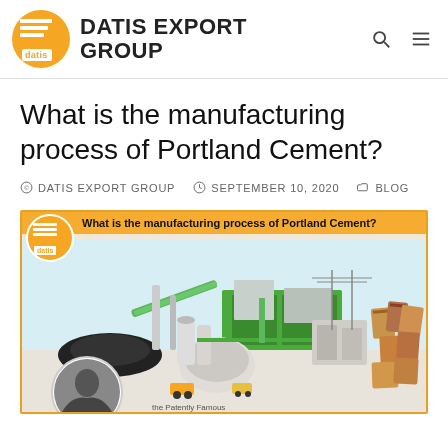DATIS EXPORT GROUP
What is the manufacturing process of Portland Cement?
© DATIS EXPORT GROUP   © SEPTEMBER 10, 2020   ⊡ BLOG
[Figure (illustration): Industrial illustration of a Portland Cement manufacturing plant showing various stages: raw material stockpile, kilns, processing buildings, conveyor systems, finished cement bags, and a historical portrait inset, with 'What is the manufacturing process of Portland Cement?' banner at top.]